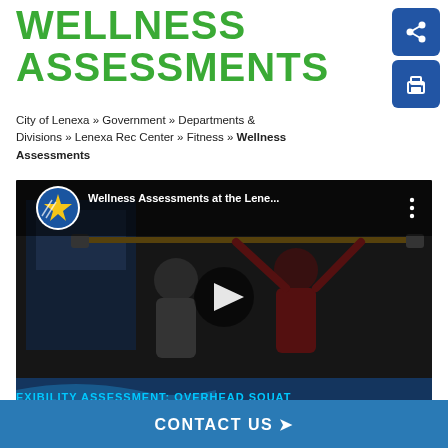WELLNESS ASSESSMENTS
City of Lenexa » Government » Departments & Divisions » Lenexa Rec Center » Fitness » Wellness Assessments
[Figure (screenshot): YouTube video thumbnail showing a person performing an overhead squat with a barbell in a fitness room. Video title reads 'Wellness Assessments at the Lene...' with a City of Lenexa logo and a play button. Bottom banner reads 'FLEXIBILITY ASSESSMENT: OVERHEAD SQUAT'.]
CONTACT US